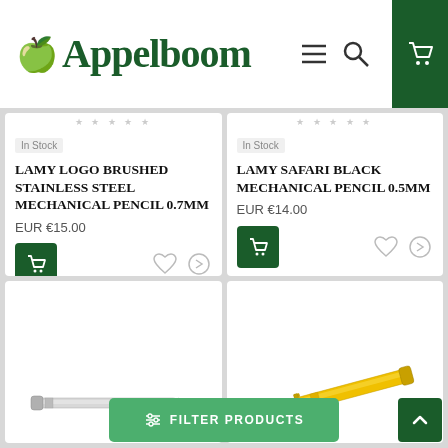Appelboom
In Stock
Lamy Logo Brushed Stainless Steel Mechanical Pencil 0.7mm
EUR €15.00
In Stock
Lamy Safari Black Mechanical pencil 0.5mm
EUR €14.00
[Figure (photo): Lamy mechanical pencil - silver/grey pencil shown horizontally]
[Figure (photo): Lamy pencil - yellow pencil with clip shown at angle]
FILTER PRODUCTS